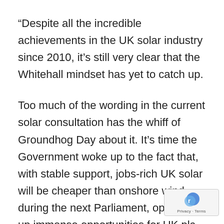“Despite all the incredible achievements in the UK solar industry since 2010, it’s still very clear that the Whitehall mindset has yet to catch up.
Too much of the wording in the current solar consultation has the whiff of Groundhog Day about it. It’s time the Government woke up to the fact that, with stable support, jobs-rich UK solar will be cheaper than onshore wind during the next Parliament, opening up immense opportunities for UK plc, and driving down the costs of delivering the 2020 Renewable Energy Target in the process.
Far from slamming the brakes on large-scale solar, the Prime Minister should be hailing it